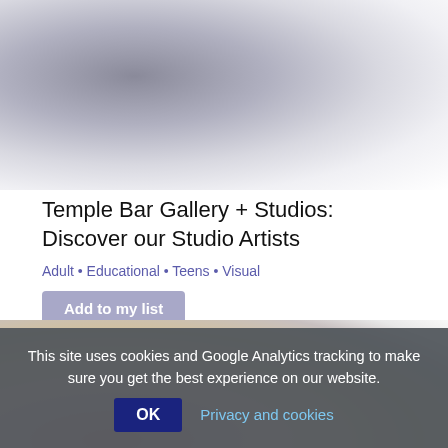[Figure (photo): Blurred/out-of-focus photo at top of page, showing dark circular shapes on a light grey background]
Temple Bar Gallery + Studios: Discover our Studio Artists
Adult • Educational • Teens • Visual
Add to my list
[Figure (photo): Blurred/out-of-focus photo in middle-lower area, showing pinkish and warm tones — appears to be an artwork or portrait image]
This site uses cookies and Google Analytics tracking to make sure you get the best experience on our website.
OK  Privacy and cookies
The LAB: Re-considering...